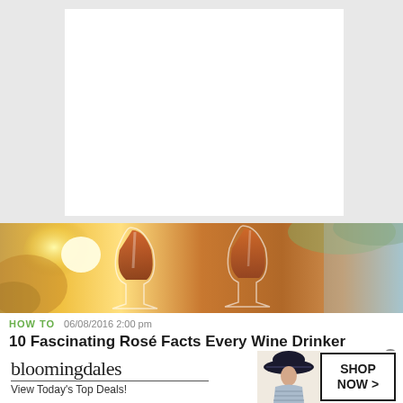[Figure (photo): White blank/empty rectangular box on gray background, representing an image placeholder]
[Figure (photo): Photograph of two glasses of rosé wine held up against warm sunlit outdoor background with bokeh effect]
HOW TO   06/08/2016 2:00 pm
10 Fascinating Rosé Facts Every Wine Drinker Should
[Figure (photo): Bloomingdales advertisement banner: logo text 'bloomingdales' with underline, 'View Today's Top Deals!' text, woman in hat illustration, 'SHOP NOW >' button]